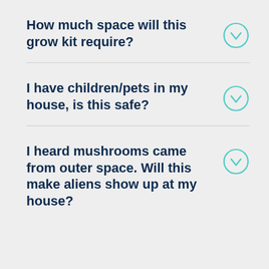How much space will this grow kit require?
I have children/pets in my house, is this safe?
I heard mushrooms came from outer space. Will this make aliens show up at my house?